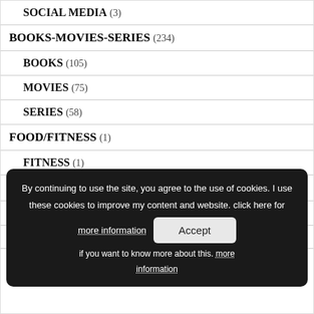SOCIAL MEDIA (3)
BOOKS-MOVIES-SERIES (234)
BOOKS (105)
MOVIES (75)
SERIES (58)
FOOD/FITNESS (1)
FITNESS (1)
LIFESTYLE (123)
LIFESTYLE (83)
Personal (35)
Uncategorized
By continuing to use the site, you agree to the use of cookies. I use these cookies to improve my content and website. click here for more information if you want to know more about this. more information